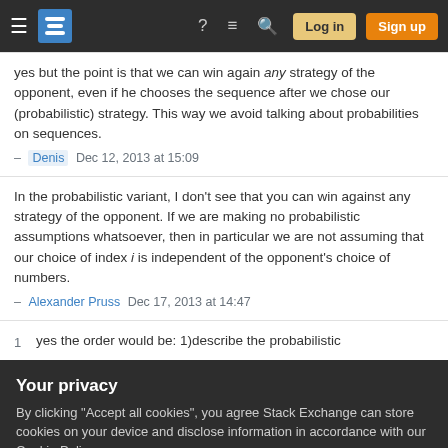Stack Exchange navigation bar with hamburger, logo, help, chat, search, Log in, Sign up
yes but the point is that we can win again any strategy of the opponent, even if he chooses the sequence after we chose our (probabilistic) strategy. This way we avoid talking about probabilities on sequences. – Denis Dec 12, 2013 at 15:09
In the probabilistic variant, I don't see that you can win against any strategy of the opponent. If we are making no probabilistic assumptions whatsoever, then in particular we are not assuming that our choice of index i is independent of the opponent's choice of numbers. – Alexander Pruss Dec 17, 2013 at 14:47
1  yes the order would be: 1)describe the probabilistic
Your privacy
By clicking "Accept all cookies", you agree Stack Exchange can store cookies on your device and disclose information in accordance with our Cookie Policy.
Accept all cookies  Customize settings
The blurred/obscured text at bottom about the nature of choices clouding the real issue here (I think). If I have a